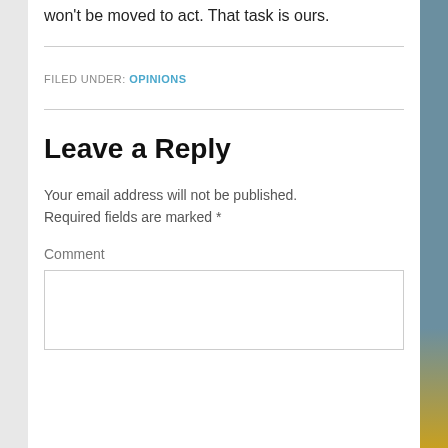won't be moved to act. That task is ours.
FILED UNDER: OPINIONS
Leave a Reply
Your email address will not be published. Required fields are marked *
Comment